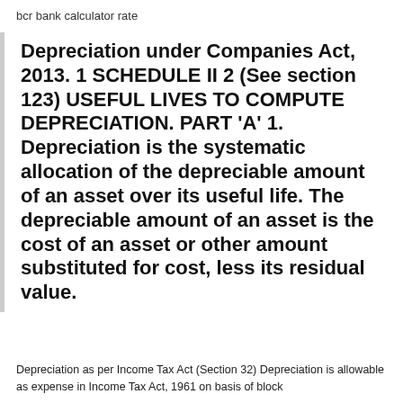bcr bank calculator rate
Depreciation under Companies Act, 2013. 1 SCHEDULE II 2 (See section 123) USEFUL LIVES TO COMPUTE DEPRECIATION. PART 'A' 1. Depreciation is the systematic allocation of the depreciable amount of an asset over its useful life. The depreciable amount of an asset is the cost of an asset or other amount substituted for cost, less its residual value.
Depreciation as per Income Tax Act (Section 32) Depreciation is allowable as expense in Income Tax Act, 1961 on basis of block